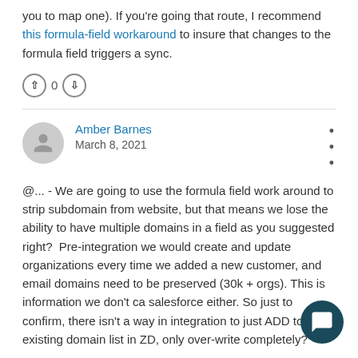you to map one). If you're going that route, I recommend this formula-field workaround to insure that changes to the formula field triggers a sync.
↑ 0 ↓
Amber Barnes
March 8, 2021
@... - We are going to use the formula field work around to strip subdomain from website, but that means we lose the ability to have multiple domains in a field as you suggested right? Pre-integration we would create and update organizations every time we added a new customer, and email domains need to be preserved (30k + orgs). This is information we don't ca salesforce either. So just to confirm, there isn't a way in integration to just ADD to the existing domain list in ZD, only over-write completely?